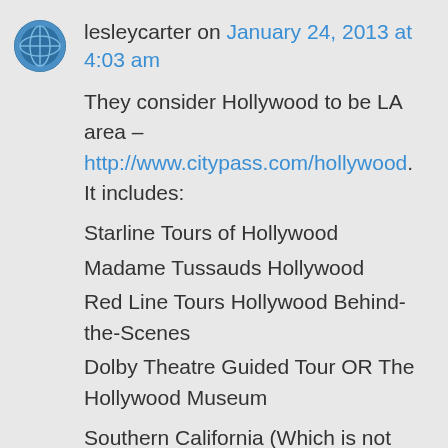[Figure (photo): Small circular avatar image of a user profile photo showing a globe/earth icon with blue tones]
lesleycarter on January 24, 2013 at 4:03 am
They consider Hollywood to be LA area – http://www.citypass.com/hollywood. It includes:
Starline Tours of Hollywood
Madame Tussauds Hollywood
Red Line Tours Hollywood Behind-the-Scenes
Dolby Theatre Guided Tour OR The Hollywood Museum
Southern California (Which is not included in this giveaway) can be found here-